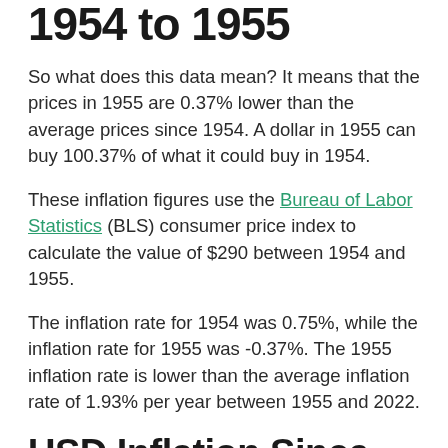1954 to 1955
So what does this data mean? It means that the prices in 1955 are 0.37% lower than the average prices since 1954. A dollar in 1955 can buy 100.37% of what it could buy in 1954.
These inflation figures use the Bureau of Labor Statistics (BLS) consumer price index to calculate the value of $290 between 1954 and 1955.
The inflation rate for 1954 was 0.75%, while the inflation rate for 1955 was -0.37%. The 1955 inflation rate is lower than the average inflation rate of 1.93% per year between 1955 and 2022.
USD Inflation Since 1913
The chart below shows the inflation rate from